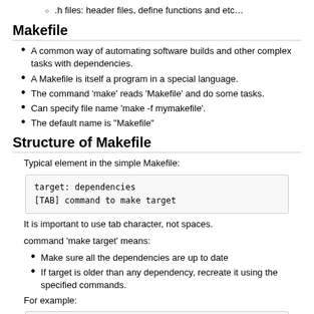.h files: header files, define functions and etc…
Makefile
A common way of automating software builds and other complex tasks with dependencies.
A Makefile is itself a program in a special language.
The command 'make' reads 'Makefile' and do some tasks.
Can specify file name 'make -f mymakefile'.
The default name is "Makefile"
Structure of Makefile
Typical element in the simple Makefile:
target: dependencies
[TAB] command to make target
It is important to use tab character, not spaces.
command 'make target' means:
Make sure all the dependencies are up to date
If target is older than any dependency, recreate it using the specified commands.
For example:
#